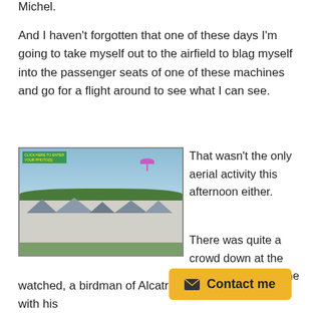Michel.
And I haven't forgotten that one of these days I'm going to take myself out to the airfield to blag myself into the passenger seats of one of these machines and go for a flight around to see what I can see.
[Figure (photo): Aerial view of a coastal town with white houses and rooftops, green hills, and a paraglider visible in the blue sky above.]
That wasn't the only aerial activity this afternoon either.
There was quite a crowd down at the field at the side of the cemetery and as I watched, a birdman of Alcatraz rose up from the air with his